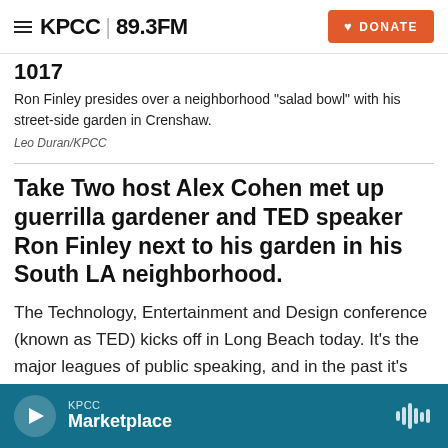KPCC 89.3FM | DONATE
1017
Ron Finley presides over a neighborhood "salad bowl" with his street-side garden in Crenshaw.
Leo Duran/KPCC
Take Two host Alex Cohen met up guerrilla gardener and TED speaker Ron Finley next to his garden in his South LA neighborhood.
The Technology, Entertainment and Design conference (known as TED) kicks off in Long Beach today. It's the major leagues of public speaking, and in the past it's brought together big
KPCC Marketplace